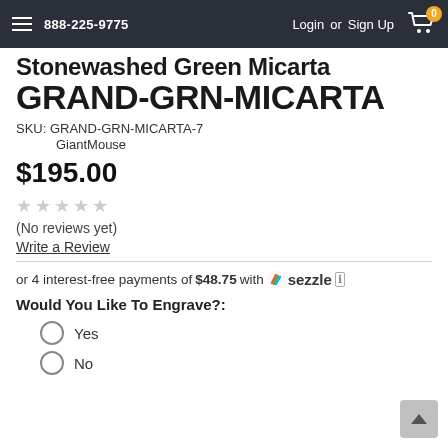888-225-9775  Login or Sign Up  0
Stonewashed Green Micarta GRAND-GRN-MICARTA
SKU: GRAND-GRN-MICARTA-7
GiantMouse
$195.00
★★★★★ (No reviews yet)
Write a Review
or 4 interest-free payments of $48.75 with Sezzle ℹ
Would You Like To Engrave?:
Yes
No